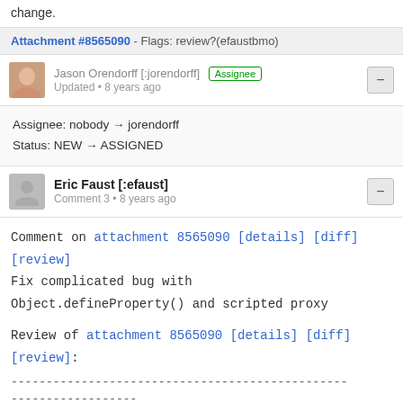change.
Attachment #8565090 - Flags: review?(efaustbmo)
Jason Orendorff [:jorendorff] Assignee
Updated • 8 years ago
Assignee: nobody → jorendorff
Status: NEW → ASSIGNED
Eric Faust [:efaust]
Comment 3 • 8 years ago
Comment on attachment 8565090 [details] [diff] [review]
Fix complicated bug with
Object.defineProperty() and scripted proxy

Review of attachment 8565090 [details] [diff] [review]:
------------------------------------------------
------------------